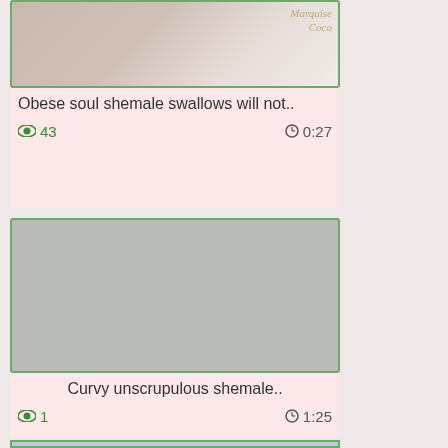[Figure (photo): Video thumbnail showing partial image with watermark text 'Marquise Coco' in top right]
Obese soul shemale swallows will not..
👁 43    🕐 0:27
[Figure (photo): Gray placeholder video thumbnail with green border]
Curvy unscrupulous shemale..
👁 1    🕐 1:25
[Figure (photo): Video thumbnail showing a woman with dark hair, sunglasses, and earrings against light blue background]